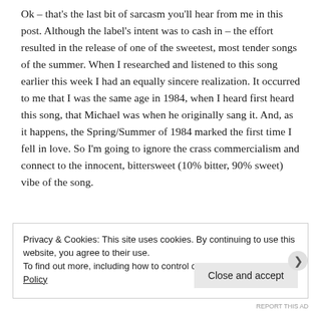Ok – that's the last bit of sarcasm you'll hear from me in this post. Although the label's intent was to cash in – the effort resulted in the release of one of the sweetest, most tender songs of the summer. When I researched and listened to this song earlier this week I had an equally sincere realization. It occurred to me that I was the same age in 1984, when I heard first heard this song, that Michael was when he originally sang it. And, as it happens, the Spring/Summer of 1984 marked the first time I fell in love. So I'm going to ignore the crass commercialism and connect to the innocent, bittersweet (10% bitter, 90% sweet) vibe of the song.
Privacy & Cookies: This site uses cookies. By continuing to use this website, you agree to their use.
To find out more, including how to control cookies, see here: Cookie Policy
Close and accept